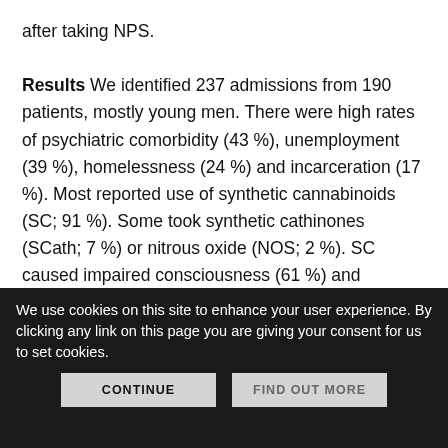after taking NPS. Results We identified 237 admissions from 190 patients, mostly young men. There were high rates of psychiatric comorbidity (43%), unemployment (39%), homelessness (24%) and incarceration (17%). Most reported use of synthetic cannabinoids (SC; 91%). Some took synthetic cathinones (SCath; 7%) or nitrous oxide (NOS; 2%). SC caused impaired consciousness (61%) and seizures (16%). SCath users presented with psychiatric disturbance or seizures (55%). Most patients were managed conservatively (67%) and a small proportion (14%) were referred to drug or psychology services.
We use cookies on this site to enhance your user experience. By clicking any link on this page you are giving your consent for us to set cookies.